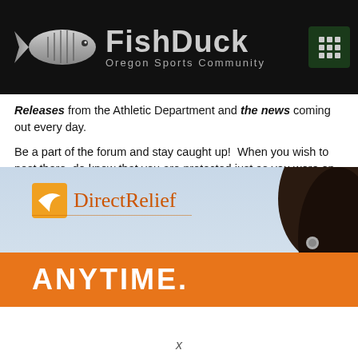FishDuck Oregon Sports Community
Releases from the Athletic Department and the news coming out every day.
Be a part of the forum and stay caught up!  When you wish to post there, do know that you are protected just as you were on FishDuck. Join us on the free forum right here!
Our 33 rules at the free OBD Forum can be summarized to this: 1) be polite and respectful, 2) keep it clean, and 3) no reference of any kind to politics. Easy-peasy!
OBD Forum members….we got your back.  No Trolls Allowed!
[Figure (photo): DirectRelief advertisement banner with orange bar reading ANYTIME. and a person with dark hair on the right side.]